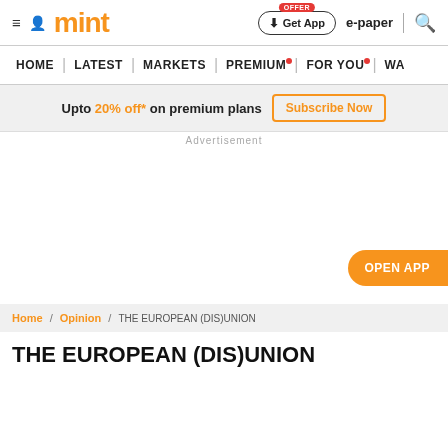mint | Get App | e-paper
HOME | LATEST | MARKETS | PREMIUM | FOR YOU | WA
Upto 20% off* on premium plans Subscribe Now
Advertisement
OPEN APP
Home / Opinion / THE EUROPEAN (DIS)UNION
THE EUROPEAN (DIS)UNION